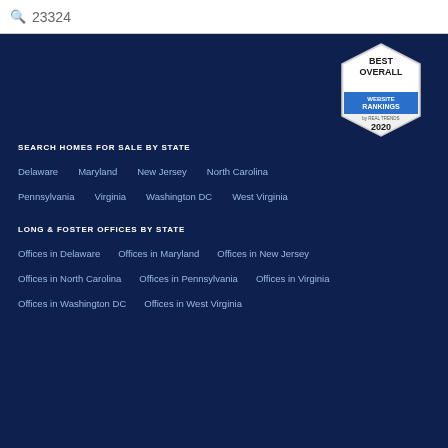23324
[Figure (illustration): Best Overall Website Rankings by Real Trends 2020 badge/seal in hexagon shape]
SEARCH HOMES FOR SALE BY STATE
Delaware
Maryland
New Jersey
North Carolina
Pennsylvania
Virginia
Washington DC
West Virginia
LONG & FOSTER OFFICES BY STATE
Offices in Delaware
Offices in Maryland
Offices in New Jersey
Offices in North Carolina
Offices in Pennsylvania
Offices in Virginia
Offices in Washington DC
Offices in West Virginia